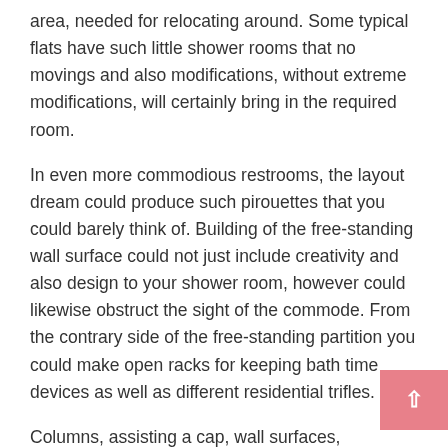area, needed for relocating around. Some typical flats have such little shower rooms that no movings and also modifications, without extreme modifications, will certainly bring in the required room.
In even more commodious restrooms, the layout dream could produce such pirouettes that you could barely think of. Building of the free-standing wall surface could not just include creativity and also design to your shower room, however could likewise obstruct the sight of the commode. From the contrary side of the free-standing partition you could make open racks for keeping bath time devices as well as different residential trifles.
Columns, assisting a cap, wall surfaces, completed by the Venetian plaster, initial lights, mosaic panel over the shower room, ceiling from integrated glass with dual highlighting offer the facility the appearance of a special